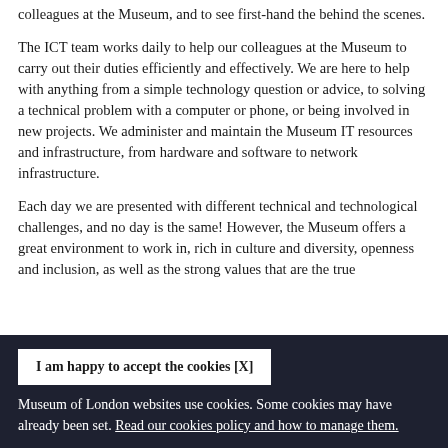colleagues at the Museum, and to see first-hand the behind the scenes.
The ICT team works daily to help our colleagues at the Museum to carry out their duties efficiently and effectively. We are here to help with anything from a simple technology question or advice, to solving a technical problem with a computer or phone, or being involved in new projects. We administer and maintain the Museum IT resources and infrastructure, from hardware and software to network infrastructure.
Each day we are presented with different technical and technological challenges, and no day is the same! However, the Museum offers a great environment to work in, rich in culture and diversity, openness and inclusion, as well as the strong values that are the true
I am happy to accept the cookies [X]
Museum of London websites use cookies. Some cookies may have already been set. Read our cookies policy and how to manage them.